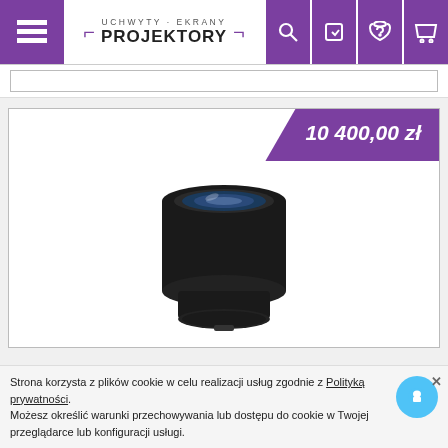UCHWYTY · EKRANY PROJEKTORY — navigation header with menu, search, login, phone, cart icons
[Figure (screenshot): E-commerce product page for a camera/projector lens priced at 10 400,00 zł. Shows a black cylindrical lens with glass element on white background. Purple price badge in top-right corner of product card.]
Strona korzysta z plików cookie w celu realizacji usług zgodnie z Polityką prywatności. Możesz określić warunki przechowywania lub dostępu do cookie w Twojej przeglądarce lub konfiguracji usługi.